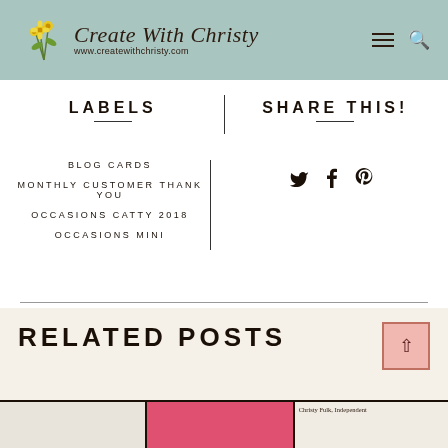Create With Christy — www.createwithchristy.com
LABELS
BLOG CARDS
MONTHLY CUSTOMER THANK YOU
OCCASIONS CATTY 2018
OCCASIONS MINI
SHARE THIS!
Twitter, Facebook, Pinterest social share icons
RELATED POSTS
Christy Fulk, Independent